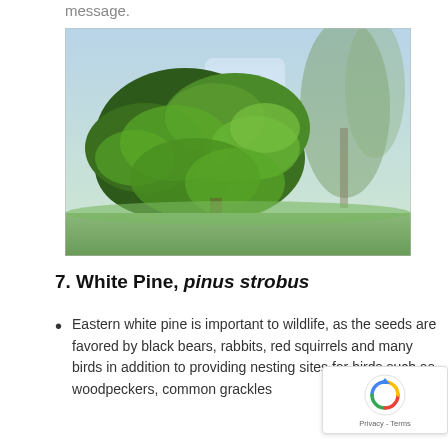message.
[Figure (photo): Photograph of an Eastern White Pine tree with dense green foliage in an outdoor setting, showing the tree's branches and needles against a bright sky with other trees in the background.]
7. White Pine, pinus strobus
Eastern white pine is important to wildlife, as the seeds are favored by black bears, rabbits, red squirrels and many birds in addition to providing nesting sites for birds such as woodpeckers, common grackles